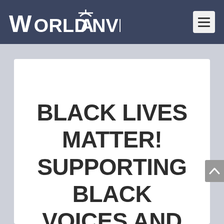WorldAnvil
BLACK LIVES MATTER! SUPPORTING BLACK VOICES AND CREATIVITY